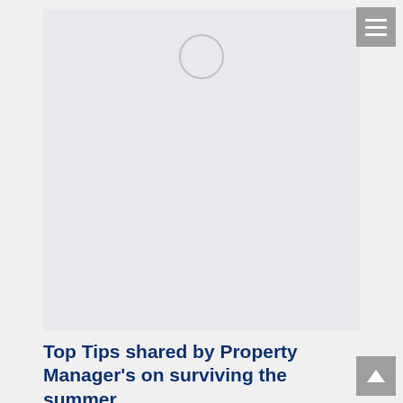[Figure (illustration): Large light gray placeholder image area with a small circle outline near the top center, indicating a loading or placeholder image.]
Top Tips shared by Property Manager's on surviving the summer